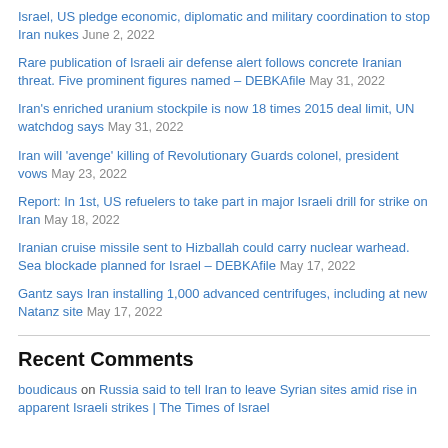Israel, US pledge economic, diplomatic and military coordination to stop Iran nukes June 2, 2022
Rare publication of Israeli air defense alert follows concrete Iranian threat. Five prominent figures named – DEBKAfile May 31, 2022
Iran's enriched uranium stockpile is now 18 times 2015 deal limit, UN watchdog says May 31, 2022
Iran will 'avenge' killing of Revolutionary Guards colonel, president vows May 23, 2022
Report: In 1st, US refuelers to take part in major Israeli drill for strike on Iran May 18, 2022
Iranian cruise missile sent to Hizballah could carry nuclear warhead. Sea blockade planned for Israel – DEBKAfile May 17, 2022
Gantz says Iran installing 1,000 advanced centrifuges, including at new Natanz site May 17, 2022
Recent Comments
boudicaus on Russia said to tell Iran to leave Syrian sites amid rise in apparent Israeli strikes | The Times of Israel